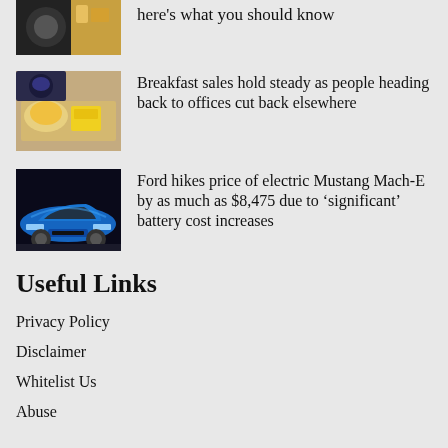here's what you should know
[Figure (photo): Food items on a tray, McDonald's breakfast items with egg and yellow packaging]
Breakfast sales hold steady as people heading back to offices cut back elsewhere
[Figure (photo): Blue Ford Mustang Mach-E electric car at an auto show]
Ford hikes price of electric Mustang Mach-E by as much as $8,475 due to ‘significant’ battery cost increases
Useful Links
Privacy Policy
Disclaimer
Whitelist Us
Abuse